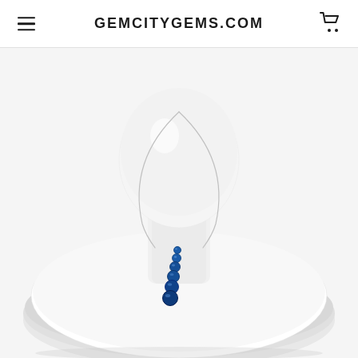GEMCITYGEMS.COM
[Figure (photo): A jewelry necklace display showing a silver chain necklace with a graduated blue sapphire gemstone pendant arranged in a curved line, displayed on a white bust/mannequin neck display form against a white background.]